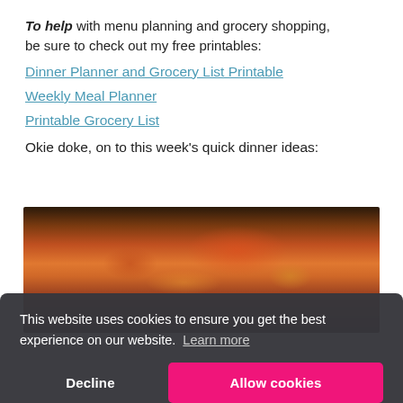To help with menu planning and grocery shopping, be sure to check out my free printables:
Dinner Planner and Grocery List Printable
Weekly Meal Planner
Printable Grocery List
Okie doke, on to this week's quick dinner ideas:
[Figure (photo): Photo of a slow cooker or pan with colorful vegetables including orange, red, and yellow peppers with other food items.]
This website uses cookies to ensure you get the best experience on our website. Learn more